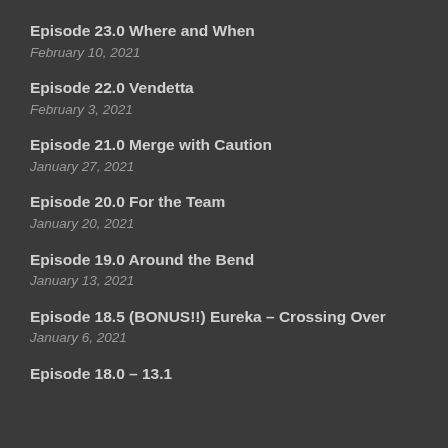Episode 23.0 Where and When
February 10, 2021
Episode 22.0 Vendetta
February 3, 2021
Episode 21.0 Merge with Caution
January 27, 2021
Episode 20.0 For the Team
January 20, 2021
Episode 19.0 Around the Bend
January 13, 2021
Episode 18.5 (BONUS!!) Eureka – Crossing Over
January 6, 2021
Episode 18.0 – 13.1